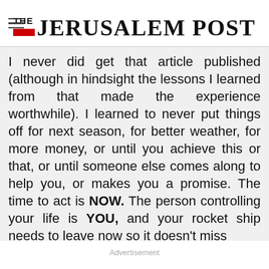THE JERUSALEM POST
I never did get that article published (although in hindsight the lessons I learned from that made the experience worthwhile). I learned to never put things off for next season, for better weather, for more money, or until you achieve this or that, or until someone else comes along to help you, or makes you a promise. The time to act is NOW. The person controlling your life is YOU, and your rocket ship needs to leave now so it doesn't miss
Advertisement